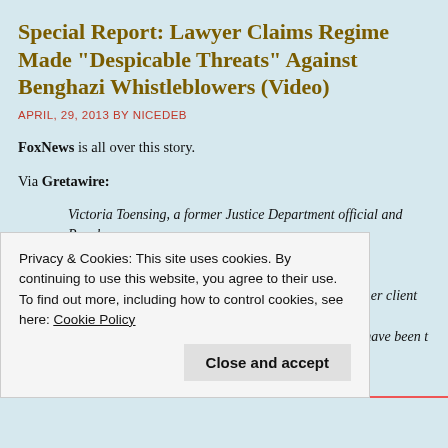Special Report: Lawyer Claims Regime Made “Despicable Threats” Against Benghazi Whistleblowers (Video)
APRIL, 29, 2013 BY NICEDEB
FoxNews is all over this story.
Via Gretawire:
Victoria Toensing, a former Justice Department official and Republican counsel to the Senate intelligence committee, is now representing the State Department employees. She told Fox News her client and the others, who consider themselves whistleblowers, have been threatened by unnamed Obama administration officials.
Privacy & Cookies: This site uses cookies. By continuing to use this website, you agree to their use.
To find out more, including how to control cookies, see here: Cookie Policy
Close and accept